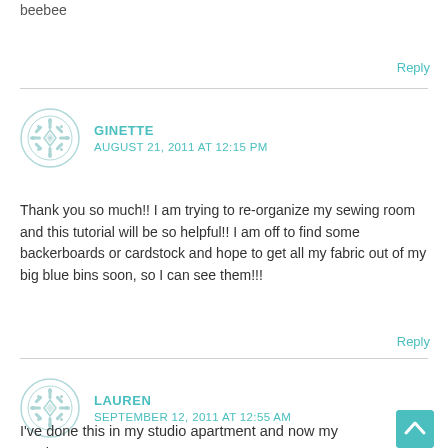beebee
Reply
GINETTE
AUGUST 21, 2011 AT 12:15 PM
Thank you so much!! I am trying to re-organize my sewing room and this tutorial will be so helpful!! I am off to find some backerboards or cardstock and hope to get all my fabric out of my big blue bins soon, so I can see them!!!
Reply
LAUREN
SEPTEMBER 12, 2011 AT 12:55 AM
I've done this in my studio apartment and now my sewing... makes for a beautifully decorated bookshelf. The real test... see if I can get my students to help me mini-bolt about 20 bins